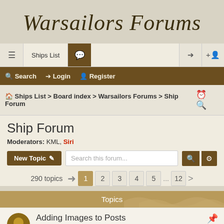Warsailors Forums
Ships List | (forum icon) | Login | Register
Search  Login  Register
Ships List > Board index > Warsailors Forums > Ship Forum
Ship Forum
Moderators: KML, Siri
New Topic  Search this forum...  290 topics  1 2 3 4 5 ... 12 >
Topics
Adding Images to Posts
Last post by davidships « Wed Feb 09, 2022 8:41 pm
Replies: 2